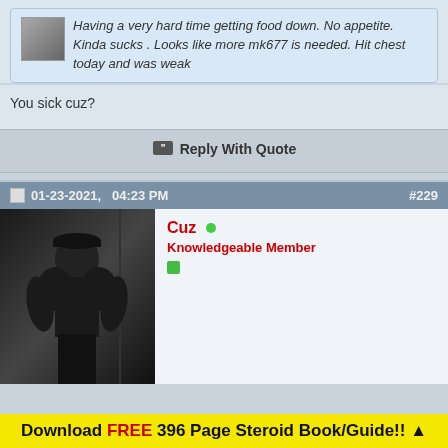Having a very hard time getting food down. No appetite. Kinda sucks . Looks like more mk677 is needed. Hit chest today and was weak
You sick cuz?
Reply With Quote
01-23-2021,  04:23 PM  #229
[Figure (photo): Black and white photo of a muscular man in a gym wearing a cap and tank top]
Cuz  Knowledgeable Member
Download FREE 396 Page Steroid Book/Guide!! ▲